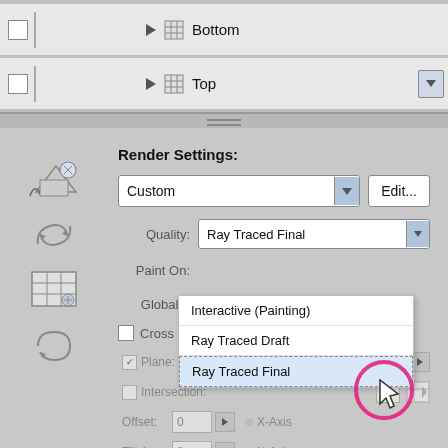[Figure (screenshot): Software UI panel showing a list with 'Bottom' and 'Top' rows with checkboxes and expand arrows]
Render Settings:
[Figure (screenshot): Dropdown UI showing 'Custom' selected with Edit... button, Quality dropdown showing 'Ray Traced Final' selected, Paint On and Global A labels, Cross Section checkbox, and a dropdown menu open with options: Interactive (Painting), Ray Traced Draft, Ray Traced Final (selected/highlighted). A pink circle highlights the cursor.]
Plane: 50%
Intersection:
Offset: 0 X-Axis
Tilt A: 0 X-Axis